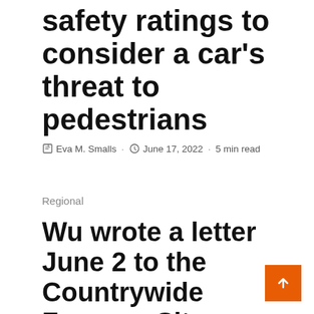safety ratings to consider a car's threat to pedestrians
Eva M. Smalls · June 17, 2022 · 5 min read
Regional
Wu wrote a letter June 2 to the Countrywide Freeway Site visitors Security Administration with suggestions for motor vehicle characteristics she